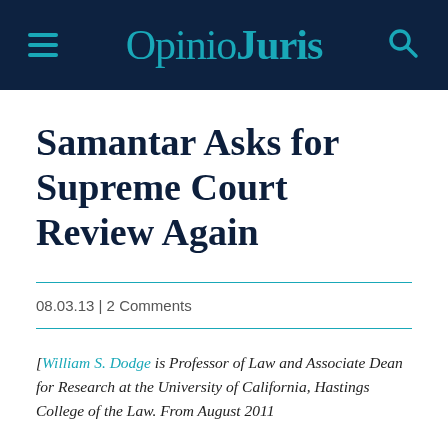OpinioJuris
Samantar Asks for Supreme Court Review Again
08.03.13 | 2 Comments
[William S. Dodge is Professor of Law and Associate Dean for Research at the University of California, Hastings College of the Law. From August 2011